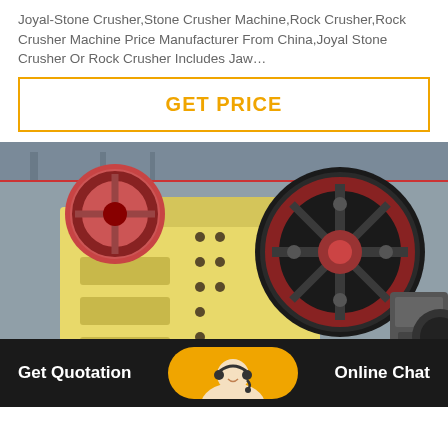Joyal-Stone Crusher,Stone Crusher Machine,Rock Crusher,Rock Crusher Machine Price Manufacturer From China,Joyal Stone Crusher Or Rock Crusher Includes Jaw…
GET PRICE
[Figure (photo): Industrial jaw crusher machine in a factory setting — large yellow body with black flywheel and red pulley, photographed in a manufacturing facility.]
Get Quotation
Online Chat